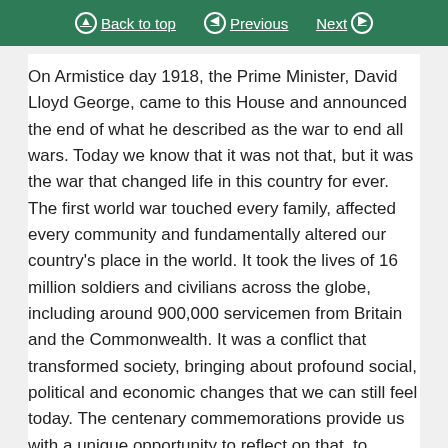Back to top   Previous   Next
On Armistice day 1918, the Prime Minister, David Lloyd George, came to this House and announced the end of what he described as the war to end all wars. Today we know that it was not that, but it was the war that changed life in this country for ever. The first world war touched every family, affected every community and fundamentally altered our country's place in the world. It took the lives of 16 million soldiers and civilians across the globe, including around 900,000 servicemen from Britain and the Commonwealth. It was a conflict that transformed society, bringing about profound social, political and economic changes that we can still feel today. The centenary commemorations provide us with a unique opportunity to reflect on that, to